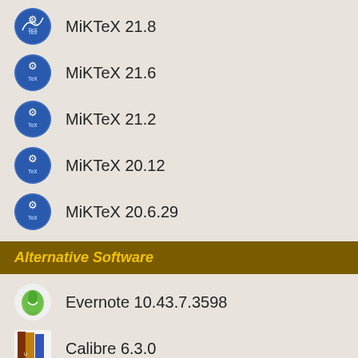MiKTeX 21.8
MiKTeX 21.6
MiKTeX 21.2
MiKTeX 20.12
MiKTeX 20.6.29
Alternative Software
Evernote 10.43.7.3598
Calibre 6.3.0
PDF-XChange Editor 9.4.362.0